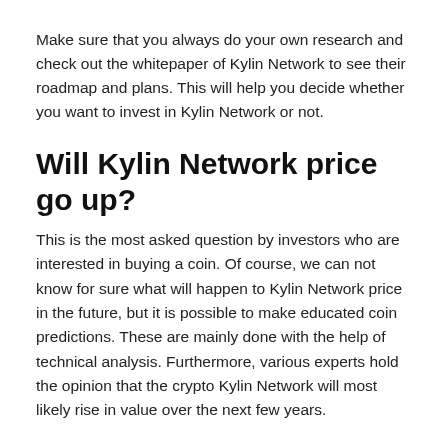Make sure that you always do your own research and check out the whitepaper of Kylin Network to see their roadmap and plans. This will help you decide whether you want to invest in Kylin Network or not.
Will Kylin Network price go up?
This is the most asked question by investors who are interested in buying a coin. Of course, we can not know for sure what will happen to Kylin Network price in the future, but it is possible to make educated coin predictions. These are mainly done with the help of technical analysis. Furthermore, various experts hold the opinion that the crypto Kylin Network will most likely rise in value over the next few years.
Our team also believes that Kylin Network has a lot of potential, and much more room to grow. Taking all these